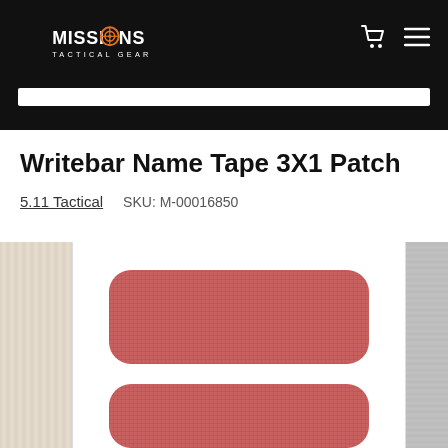Missions Tactical Gear – navigation header with logo, cart icon, menu icon, and search bar
Writebar Name Tape 3X1 Patch
5.11 Tactical   SKU: M-00016850
[Figure (photo): Product image carousel showing Writebar Name Tape 3X1 Patch in red/pink fabric with rounded corners. Two patches visible in the center panel; partial views of beige and gray color variants on left and right sides.]